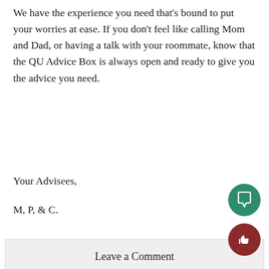We have the experience you need that's bound to put your worries at ease. If you don't feel like calling Mom and Dad, or having a talk with your roommate, know that the QU Advice Box is always open and ready to give you the advice you need.
Your Advisees,
M, P, & C.
Leave a Comment
[Figure (other): Green circular button with speech bubble / comment icon]
[Figure (other): Dark red circular button with thumbs up icon]